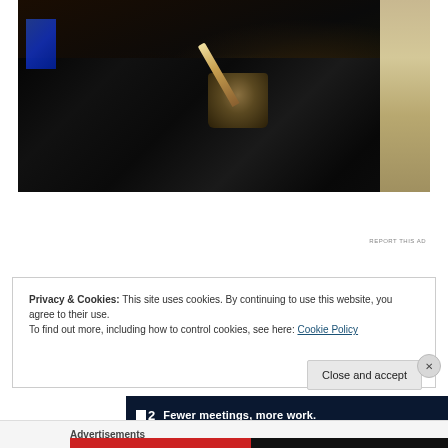[Figure (photo): Photo of a room with black plastic sheeting on the floor, a paint can with a brush resting on it, some debris or spackle pieces nearby, a blue item visible in the upper-left corner, and a beige/tan wall or door on the right side.]
[Figure (other): Advertisement banner with dark navy background showing logo '▪2' and text 'Fewer meetings, more work.' in white bold font.]
REPORT THIS AD
Privacy & Cookies: This site uses cookies. By continuing to use this website, you agree to their use.
To find out more, including how to control cookies, see here: Cookie Policy
Close and accept
Advertisements